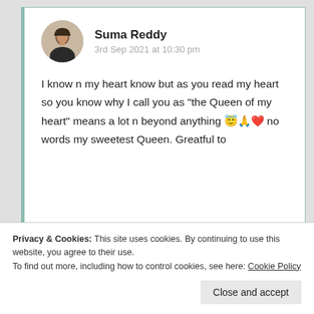[Figure (photo): Circular avatar photo of Suma Reddy, a woman with dark hair]
Suma Reddy
3rd Sep 2021 at 10:30 pm
I know n my heart know but as you read my heart so you know why I call you as “the Queen of my heart” means a lot n beyond anything 😇🙏❤️ no words my sweetest Queen. Greatful to
Privacy & Cookies: This site uses cookies. By continuing to use this website, you agree to their use.
To find out more, including how to control cookies, see here: Cookie Policy
Close and accept
Log in to reply